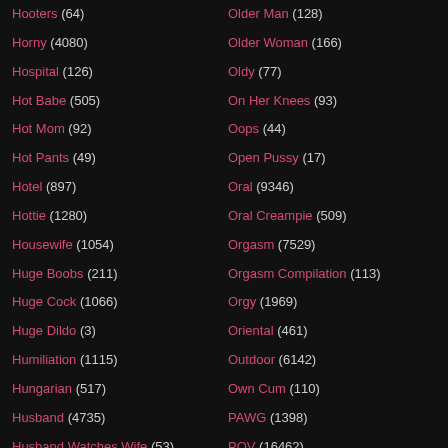Hooters (64)
Horny (4080)
Hospital (126)
Hot Babe (505)
Hot Mom (92)
Hot Pants (49)
Hotel (897)
Hottie (1280)
Housewife (1054)
Huge Boobs (211)
Huge Cock (1066)
Huge Dildo (3)
Humiliation (1115)
Hungarian (517)
Husband (4735)
Husband Watches Wife (53)
Older Man (128)
Older Woman (166)
Oldy (77)
On Her Knees (93)
Oops (44)
Open Pussy (17)
Oral (9346)
Oral Creampie (509)
Orgasm (7529)
Orgasm Compilation (113)
Orgy (1969)
Oriental (461)
Outdoor (6142)
Own Cum (110)
PAWG (1398)
POV (16462)